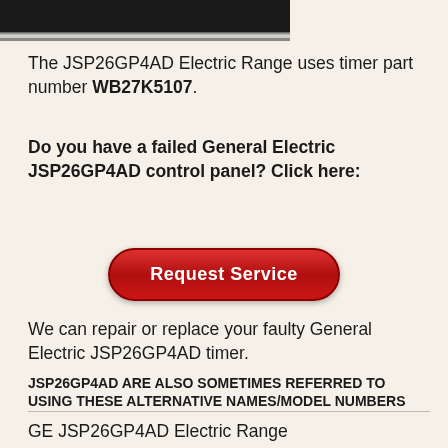[Figure (photo): Top portion of a black appliance control panel, cropped at the bottom edge of the image strip]
The JSP26GP4AD Electric Range uses timer part number WB27K5107.
Do you have a failed General Electric JSP26GP4AD control panel? Click here:
[Figure (other): Red rounded rectangle button with white bold text reading 'Request Service']
We can repair or replace your faulty General Electric JSP26GP4AD timer.
JSP26GP4AD ARE ALSO SOMETIMES REFERRED TO USING THESE ALTERNATIVE NAMES/MODEL NUMBERS
GE JSP26GP4AD Electric Range